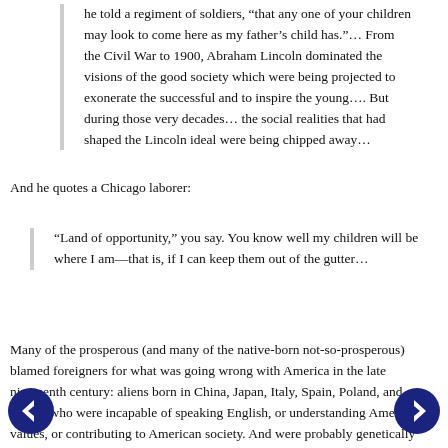he told a regiment of soldiers, “that any one of your children may look to come here as my father’s child has.”… From the Civil War to 1900, Abraham Lincoln dominated the visions of the good society which were being projected to exonerate the successful and to inspire the young…. But during those very decades… the social realities that had shaped the Lincoln ideal were being chipped away…
And he quotes a Chicago laborer:
“Land of opportunity,” you say. You know well my children will be where I am—that is, if I can keep them out of the gutter…
Many of the prosperous (and many of the native-born not-so-prosperous) blamed foreigners for what was going wrong with America in the late nineteenth century: aliens born in China, Japan, Italy, Spain, Poland, and Russia who were incapable of speaking English, or understanding American values, or contributing to American society. And were probably genetically feeble-minded too, with children incapable of ever becoming smart and well-educated enough to be full partners in American civilization — especially the Chinese and the Jews. Don’t laugh—that’s what they